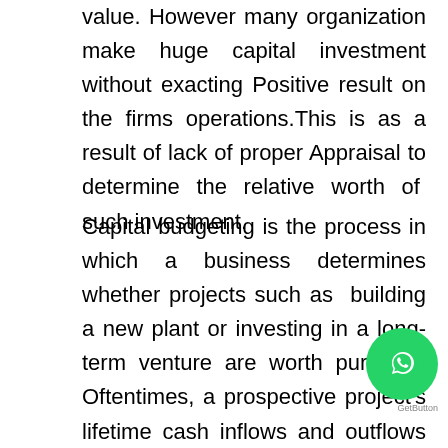value. However many organization make huge capital investment without exacting Positive result on the firms operations.This is as a result of lack of proper Appraisal to determine the relative worth of such investment.
Capital budgeting is the process in which a business determines whether projects such as building a new plant or investing in a long-term venture are worth pursuing. Oftentimes, a prospective project's lifetime cash inflows and outflows are assessed in order to determine whether the returns generated meet a sufficient target .Also known as "investment appraisal.Ideally, businesses should pursue projects and opportunities that enhance shareholder value. However, because the amount of capital